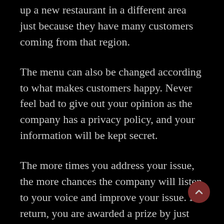up a new restaurant in a different area just because they have many customers coming from that region.
The menu can also be changed according to what makes customers happy. Never feel bad to give out your opinion as the company has a privacy policy, and your information will be kept secret.
The more times you address your issue, the more chances the company will listen to your voice and improve your issue. In return, you are awarded a prize by just giving out your opinion.